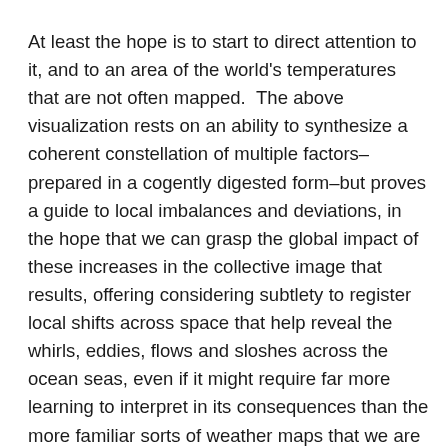At least the hope is to start to direct attention to it, and to an area of the world's temperatures that are not often mapped.  The above visualization rests on an ability to synthesize a coherent constellation of multiple factors–prepared in a cogently digested form–but proves a guide to local imbalances and deviations, in the hope that we can grasp the global impact of these increases in the collective image that results, offering considering subtlety to register local shifts across space that help reveal the whirls, eddies, flows and sloshes across the ocean seas, even if it might require far more learning to interpret in its consequences than the more familiar sorts of weather maps that we are used to access on line.  While not a globe or a sphere that earlier globe-makers might recognize, the elegantly articulated silhouetted continents